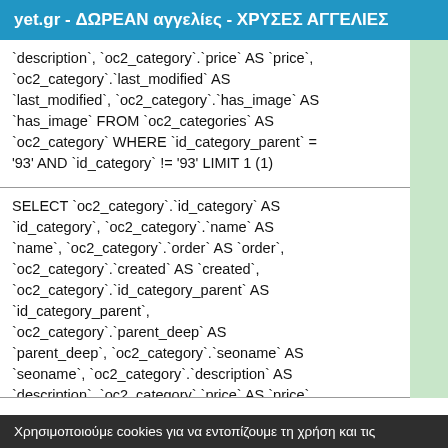yet.gr - ΔΩΡΕΑΝ αγγελίες - ΧΡΥΣΕΣ ΑΓΓΕΛΙΕΣ
`description`, `oc2_category`.`price` AS `price`, `oc2_category`.`last_modified` AS `last_modified`, `oc2_category`.`has_image` AS `has_image` FROM `oc2_categories` AS `oc2_category` WHERE `id_category_parent` = '93' AND `id_category` != '93' LIMIT 1 (1)
SELECT `oc2_category`.`id_category` AS `id_category`, `oc2_category`.`name` AS `name`, `oc2_category`.`order` AS `order`, `oc2_category`.`created` AS `created`, `oc2_category`.`id_category_parent` AS `id_category_parent`, `oc2_category`.`parent_deep` AS `parent_deep`, `oc2_category`.`seoname` AS `seoname`, `oc2_category`.`description` AS `description`, `oc2_category`.`price` AS `price`,
Χρησιμοποιούμε cookies για να εντοπίζουμε τη χρήση και τις